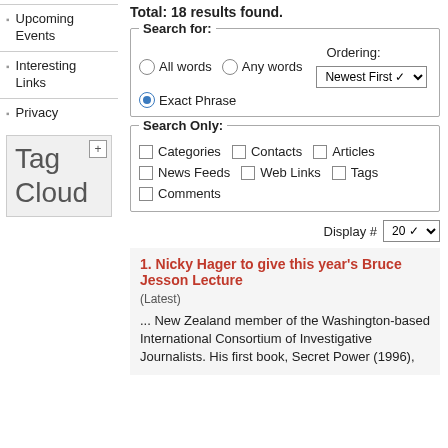Upcoming Events
Interesting Links
Privacy
Tag Cloud
Total: 18 results found.
Search for: All words  Any words  Exact Phrase  Ordering: Newest First
Search Only: Categories  Contacts  Articles  News Feeds  Web Links  Tags  Comments
Display # 20
1. Nicky Hager to give this year's Bruce Jesson Lecture
(Latest)
... New Zealand member of the Washington-based International Consortium of Investigative Journalists. His first book, Secret Power (1996),